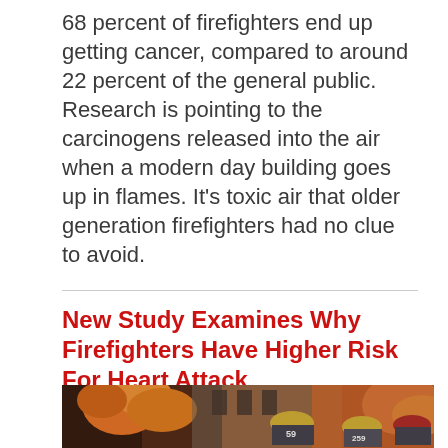68 percent of firefighters end up getting cancer, compared to around 22 percent of the general public. Research is pointing to the carcinogens released into the air when a modern day building goes up in flames. It's toxic air that older generation firefighters had no clue to avoid.
New Study Examines Why Firefighters Have Higher Risk For Heart Attack
[Figure (photo): Firefighters in yellow helmets numbered 59, 259 battling a building fire with large orange flames and dark smoke in the background.]